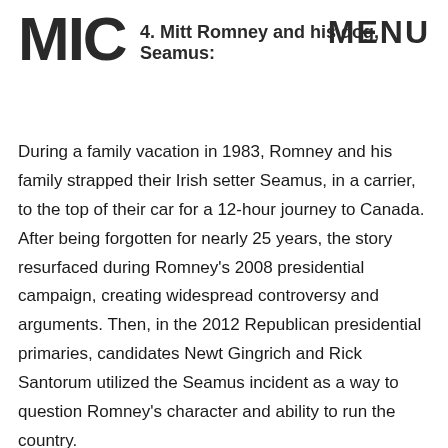MIC  MENU
4. Mitt Romney and his dog, Seamus:
During a family vacation in 1983, Romney and his family strapped their Irish setter Seamus, in a carrier, to the top of their car for a 12-hour journey to Canada. After being forgotten for nearly 25 years, the story resurfaced during Romney’s 2008 presidential campaign, creating widespread controversy and arguments. Then, in the 2012 Republican presidential primaries, candidates Newt Gingrich and Rick Santorum utilized the Seamus incident as a way to question Romney’s character and ability to run the country.